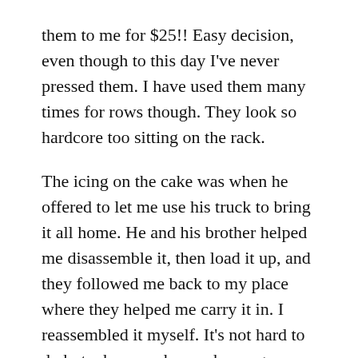them to me for $25!! Easy decision, even though to this day I've never pressed them. I have used them many times for rows though. They look so hardcore too sitting on the rack.
The icing on the cake was when he offered to let me use his truck to bring it all home. He and his brother helped me disassemble it, then load it up, and they followed me back to my place where they helped me carry it in. I reassembled it myself. It's not hard to do but when you have a home gym you start to learn quickly there are a few tools you want to make sure you have. A ratchet set, a wrench set and a set of Allen keys found their way into my toolbox that day! I can't even count the times I've used them